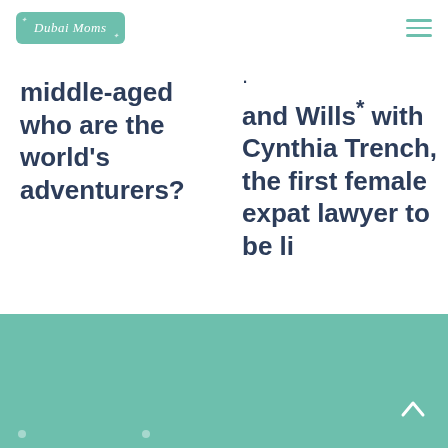Dubai Moms
middle-aged who are the world's adventurers?
and Wills* with Cynthia Trench, the first female expat lawyer to be li
All Learn
[Figure (illustration): Teal/green colored footer section with decorative white dots and a back-to-top arrow button on the right side.]